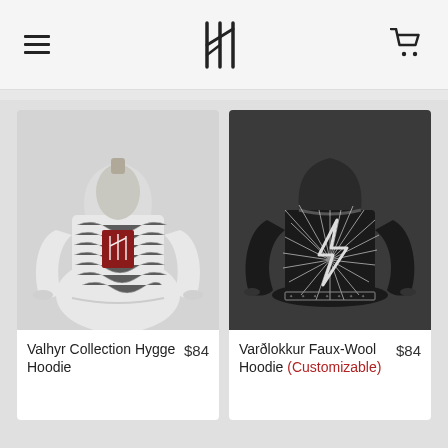Navigation header with hamburger menu, logo, and cart icon
[Figure (photo): Valhyr Collection Hygge Hoodie - white/gray patterned oversized hoodie with red logo patch on chest, shown on mannequin]
Valhyr Collection Hygge Hoodie $84
[Figure (photo): Varðlokkur Faux-Wool Hoodie - black hoodie with intricate white Nordic/runic pattern featuring a lightning bolt symbol, shown from back]
Varðlokkur Faux-Wool Hoodie (Customizable) $84